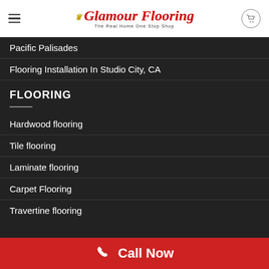[Figure (logo): Glamour Flooring logo with crown icon, cursive red text 'Glamour Flooring' and tagline 'The Real Home One Stop Shop']
Pacific Palisades
Flooring Installation In Studio City, CA
FLOORING
Hardwood flooring
Tile flooring
Laminate flooring
Carpet Flooring
Travertine flooring
Call Now